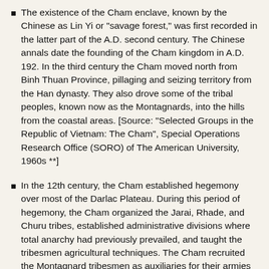The existence of the Cham enclave, known by the Chinese as Lin Yi or "savage forest," was first recorded in the latter part of the A.D. second century. The Chinese annals date the founding of the Cham kingdom in A.D. 192. In the third century the Cham moved north from Binh Thuan Province, pillaging and seizing territory from the Han dynasty. They also drove some of the tribal peoples, known now as the Montagnards, into the hills from the coastal areas. [Source: "Selected Groups in the Republic of Vietnam: The Cham", Special Operations Research Office (SORO) of The American University, 1960s **]
In the 12th century, the Cham established hegemony over most of the Darlac Plateau. During this period of hegemony, the Cham organized the Jarai, Rhade, and Churu tribes, established administrative divisions where total anarchy had previously prevailed, and taught the tribesmen agricultural techniques. The Cham recruited the Montagnard tribesmen as auxiliaries for their armies and collected taxes from them. From the outset of their expansion, the Hindu Cham clashed with the Chinese and the sinicized Annamese or ethnic Vietnamese. Protracted border wars between the Chinese and the Cham continued for several centuries, interrupted